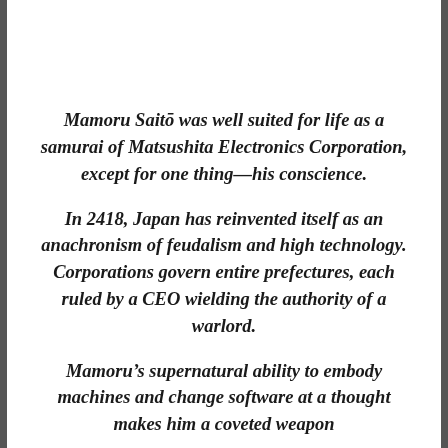Mamoru Saitō was well suited for life as a samurai of Matsushita Electronics Corporation, except for one thing—his conscience.
In 2418, Japan has reinvented itself as an anachronism of feudalism and high technology. Corporations govern entire prefectures, each ruled by a CEO wielding the authority of a warlord.
Mamoru's supernatural ability to embody machines and change software at a thought makes him a coveted weapon